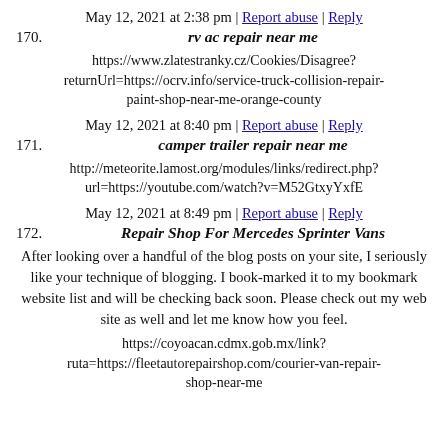170. rv ac repair near me
May 12, 2021 at 2:38 pm | Report abuse | Reply
https://www.zlatestranky.cz/Cookies/Disagree?returnUrl=https://ocrv.info/service-truck-collision-repair-paint-shop-near-me-orange-county
171. camper trailer repair near me
May 12, 2021 at 8:40 pm | Report abuse | Reply
http://meteorite.lamost.org/modules/links/redirect.php?url=https://youtube.com/watch?v=M52GtxyYxfE
172. Repair Shop For Mercedes Sprinter Vans
May 12, 2021 at 8:49 pm | Report abuse | Reply
After looking over a handful of the blog posts on your site, I seriously like your technique of blogging. I book-marked it to my bookmark website list and will be checking back soon. Please check out my web site as well and let me know how you feel.
https://coyoacan.cdmx.gob.mx/link?ruta=https://fleetautorepairshop.com/courier-van-repair-shop-near-me